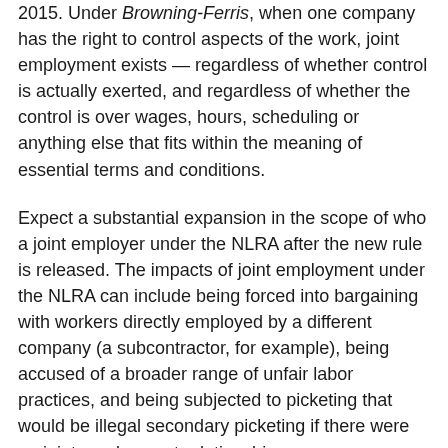2015. Under Browning-Ferris, when one company has the right to control aspects of the work, joint employment exists — regardless of whether control is actually exerted, and regardless of whether the control is over wages, hours, scheduling or anything else that fits within the meaning of essential terms and conditions.
Expect a substantial expansion in the scope of who a joint employer under the NLRA after the new rule is released. The impacts of joint employment under the NLRA can include being forced into bargaining with workers directly employed by a different company (a subcontractor, for example), being accused of a broader range of unfair labor practices, and being subjected to picketing that would be illegal secondary picketing if there were no joint employment relationship.
Back when Bob Dole was seeking the White House, actual control was required to be a joint employer under the NLRA. Since 2015, the standard has ping-ponged back and forth as the political winds have shifted. We're